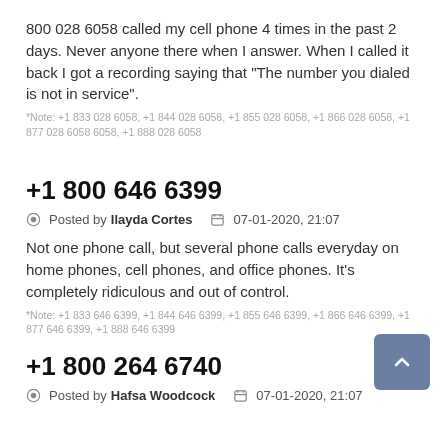800 028 6058 called my cell phone 4 times in the past 2 days. Never anyone there when I answer. When I called it back I got a recording saying that "The number you dialed is not in service".
*Note: +1 833 028 6058, +1 844 028 6058, +1 855 028 6058, +1 866 028 6058, +1 877 028 6058, +1 888 028 6058
+1 800 646 6399
Posted by Ilayda Cortes   07-01-2020, 21:07
Not one phone call, but several phone calls everyday on home phones, cell phones, and office phones. It's completely ridiculous and out of control.
*Note: +1 833 646 6399, +1 844 646 6399, +1 855 646 6399, +1 866 646 6399, +1 877 646 6399, +1 888 646 6399
+1 800 264 6740
Posted by Hafsa Woodcock   07-01-2020, 21:07